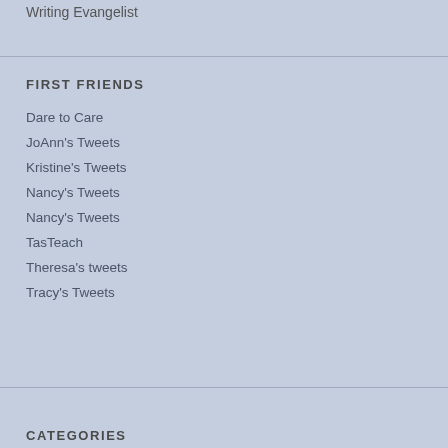Writing Evangelist
FIRST FRIENDS
Dare to Care
JoAnn's Tweets
Kristine's Tweets
Nancy's Tweets
Nancy's Tweets
TasTeach
Theresa's tweets
Tracy's Tweets
CATEGORIES